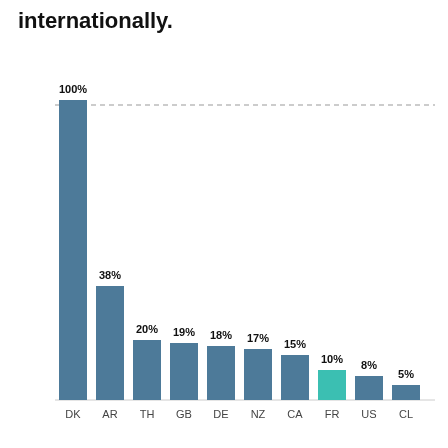internationally.
[Figure (bar-chart): ]